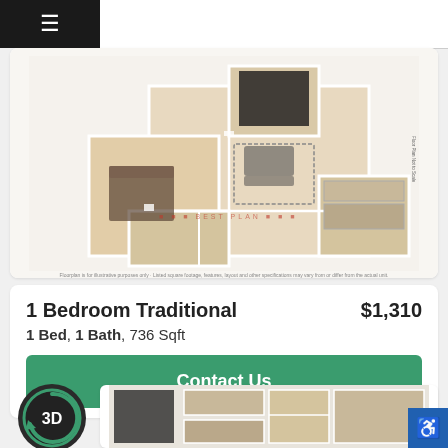[Figure (schematic): Apartment floor plan showing 1 bedroom traditional layout with living room, kitchen, bathroom, and bedroom from bird's-eye view]
1 Bedroom Traditional
$1,310
1 Bed, 1 Bath, 736 Sqft
Contact Us
[Figure (logo): 3D circular badge icon with green refresh/rotation arrow]
[Figure (schematic): Partial view of another floor plan at the bottom of the page]